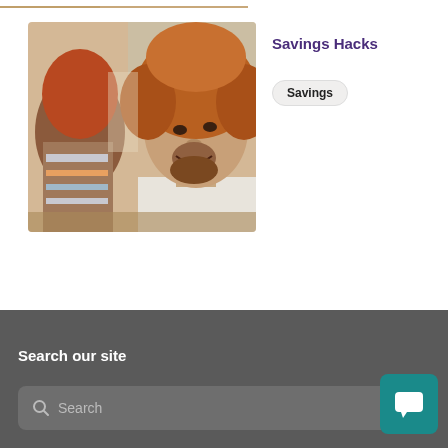[Figure (photo): Partial top strip of a photo, cropped — warm tones suggesting a vehicle interior scene]
[Figure (photo): Photo of a smiling man with curly red/auburn hair and a beard, sitting in a vehicle, with a woman in a striped top visible in the background]
Savings Hacks
Savings
Search our site
Search